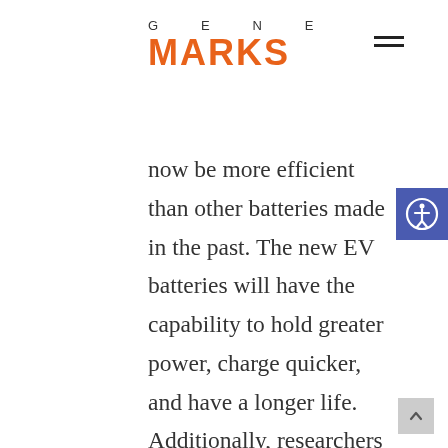GENE MARKS
now be more efficient than other batteries made in the past. The new EV batteries will have the capability to hold greater power, charge quicker, and have a longer life. Additionally, researchers have recently created a battery that is rechargeable, flexible, and composed of silver oxide-zinc. This battery has a real energy density that is 5-10 times more than